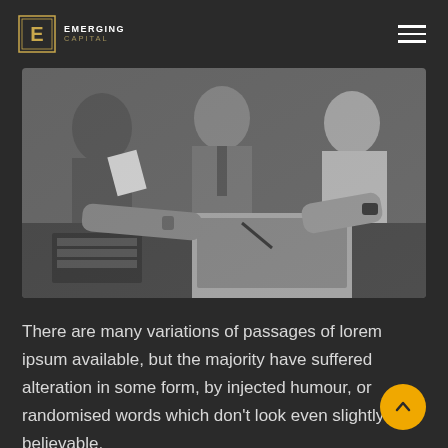EMERGING CAPITAL
[Figure (photo): Black and white photo of business people gathered around a table with laptops, papers, and keyboards, collaborating in a meeting.]
There are many variations of passages of lorem ipsum available, but the majority have suffered alteration in some form, by injected humour, or randomised words which don't look even slightly believable.